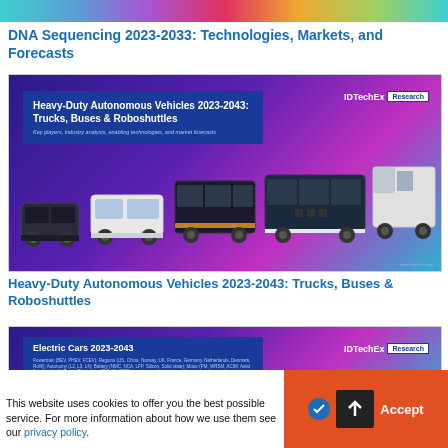[Figure (illustration): Colorful rainbow gradient banner strip at top of page]
DNA Sequencing 2023-2033: Technologies, Markets, and Forecasts
[Figure (illustration): IDTechEx Research report cover for Heavy-Duty Autonomous Vehicles 2023-2043: Trucks, Buses & Roboshuttles, showing various autonomous bus and truck vehicles against a purple-blue gradient background]
Heavy-Duty Autonomous Vehicles 2023-2043: Trucks, Buses & Roboshuttles
[Figure (illustration): IDTechEx Research report cover for Electric Cars 2023-2043, showing text about powertrains, regions, autonomy, battery, motor and power electronics against a purple gradient background with a dark car silhouette]
This website uses cookies to offer you the best possible service. For more information about how we use them see our privacy policy.